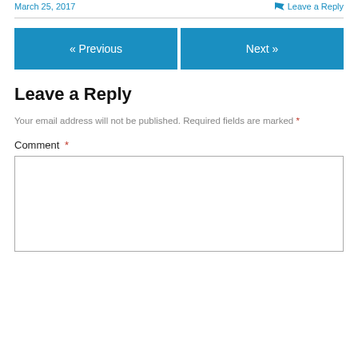March 25, 2017    Leave a Reply
Your email address will not be published. Required fields are marked *
Leave a Reply
Comment *